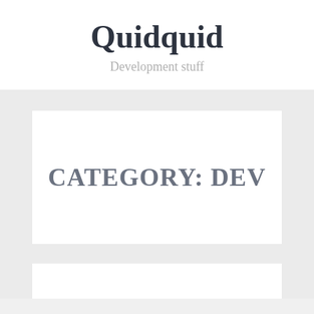Quidquid
Development stuff
CATEGORY: DEV